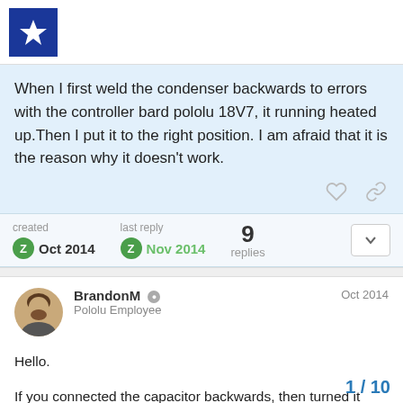[Figure (logo): Blue square logo with white star icon (Pololu forum logo)]
When I first weld the condenser backwards to errors with the controller bard pololu 18V7, it running heated up.Then I put it to the right position. I am afraid that it is the reason why it doesn't work.
created Oct 2014   last reply Nov 2014   9 replies
BrandonM  Pololu Employee   Oct 2014
Hello.
If you connected the capacitor backwards, then turned it around so it was connected correctly, the capacito and could be causing a problem (possibly
1 / 10